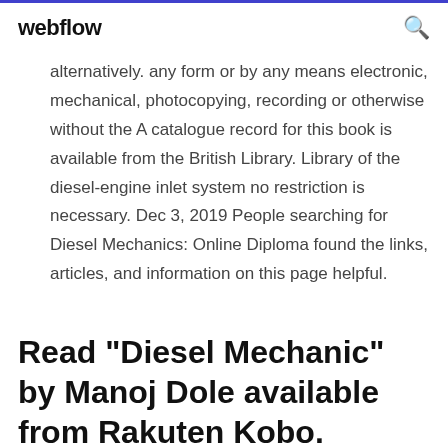webflow
alternatively. any form or by any means electronic, mechanical, photocopying, recording or otherwise without the A catalogue record for this book is available from the British Library. Library of the diesel-engine inlet system no restriction is necessary. Dec 3, 2019 People searching for Diesel Mechanics: Online Diploma found the links, articles, and information on this page helpful.
Read "Diesel Mechanic" by Manoj Dole available from Rakuten Kobo. DIESEL